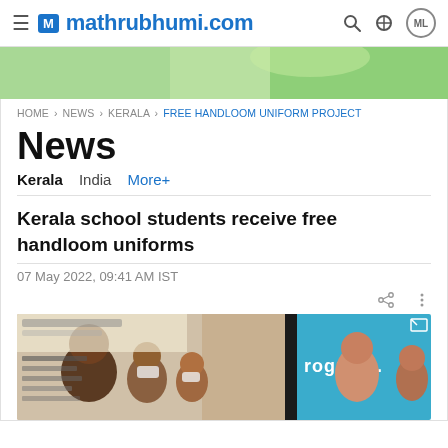mathrubhumi.com
[Figure (photo): Advertisement banner with green/nature background]
HOME › NEWS › KERALA › FREE HANDLOOM UNIFORM PROJECT
News
Kerala  India  More+
Kerala school students receive free handloom uniforms
07 May 2022, 09:41 AM IST
[Figure (photo): Group photo of officials and students at a uniform distribution event, with a teal background banner reading 'progress.']